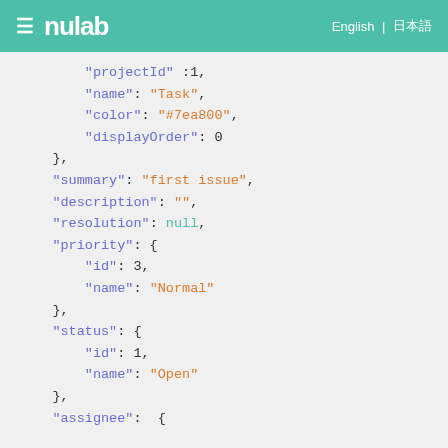≡ nulab   English | 日本語
"projectId" :1,
"name": "Task",
"color": "#7ea800",
"displayOrder": 0
},
"summary": "first issue",
"description": "",
"resolution": null,
"priority": {
    "id": 3,
    "name": "Normal"
},
"status": {
    "id": 1,
    "name": "Open"
},
"assignee":  {